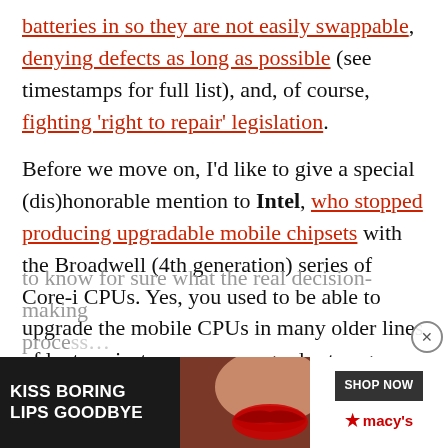batteries in so they are not easily swappable, denying defects as long as possible (see timestamps for full list), and, of course, fighting 'right to repair' legislation.

Before we move on, I'd like to give a special (dis)honorable mention to Intel, who stopped producing upgradable mobile chipsets with the Broadwell (4th generation) series of Core-i CPUs. Yes, you used to be able to upgrade the mobile CPUs in many older lines of laptops just as we can upgrade storage, RAM, and wireless cards in most laptops today. My own conjecture is that people just weren't upgrading often enough, but there's no way to know for sure what the real decision-making process...
[Figure (photo): Macy's advertisement banner: 'KISS BORING LIPS GOODBYE' with a model wearing red lipstick, SHOP NOW button, and Macy's logo with red star]